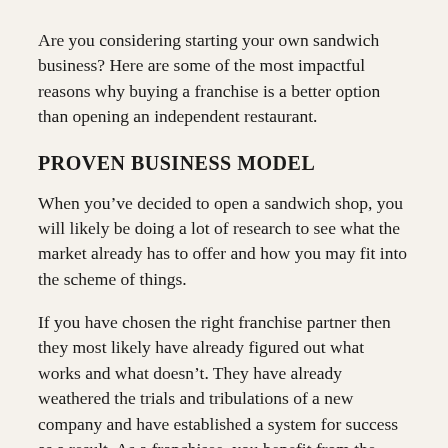Are you considering starting your own sandwich business? Here are some of the most impactful reasons why buying a franchise is a better option than opening an independent restaurant.
PROVEN BUSINESS MODEL
When you’ve decided to open a sandwich shop, you will likely be doing a lot of research to see what the market already has to offer and how you may fit into the scheme of things.
If you have chosen the right franchise partner then they most likely have already figured out what works and what doesn’t. They have already weathered the trials and tribulations of a new company and have established a system for success as a result. As a franchisee, you benefit from the learning curve that members of your franchise family have already experienced. Furthermore, you will learn that franchise businesses are more than twice as likely to be operational five years after opening than non-franchises.